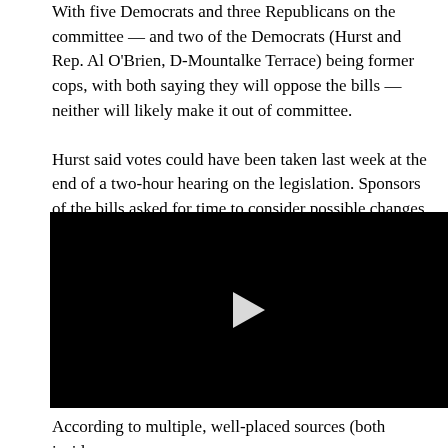With five Democrats and three Republicans on the committee — and two of the Democrats (Hurst and Rep. Al O'Brien, D-Mountalke Terrace) being former cops, with both saying they will oppose the bills — neither will likely make it out of committee. Hurst said votes could have been taken last week at the end of a two-hour hearing on the legislation. Sponsors of the bills asked for time to consider possible changes, in response to criticisms raised in the hearing.
[Figure (screenshot): Black video player with white play button in the center]
According to multiple, well-placed sources (both inside